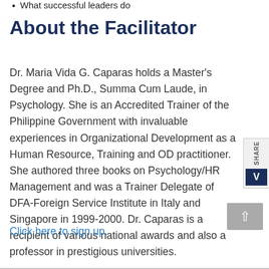What successful leaders do
About the Facilitator
Dr. Maria Vida G. Caparas holds a Master's Degree and Ph.D., Summa Cum Laude, in Psychology. She is an Accredited Trainer of the Philippine Government with invaluable experiences in Organizational Development as a Human Resource, Training and OD practitioner. She authored three books on Psychology/HR Management and was a Trainer Delegate of DFA-Foreign Service Institute in Italy and Singapore in 1999-2000. Dr. Caparas is a recipient of various national awards and also a professor in prestigious universities.
Click here to sign up.